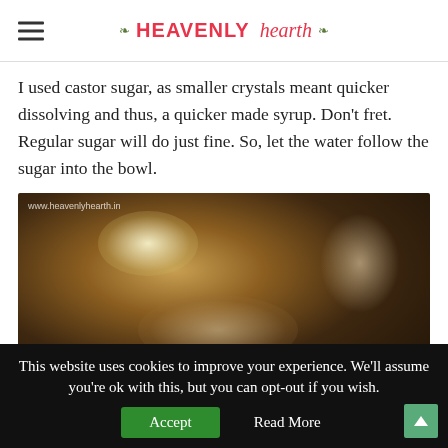HEAVENLY hearth
I used castor sugar, as smaller crystals meant quicker dissolving and thus, a quicker made syrup. Don't fret. Regular sugar will do just fine. So, let the water follow the sugar into the bowl.
[Figure (photo): Close-up photo of the inside of a dark metallic mixing bowl, with a light reflection visible, watermarked with www.heavenlyhearth.in]
This website uses cookies to improve your experience. We'll assume you're ok with this, but you can opt-out if you wish.